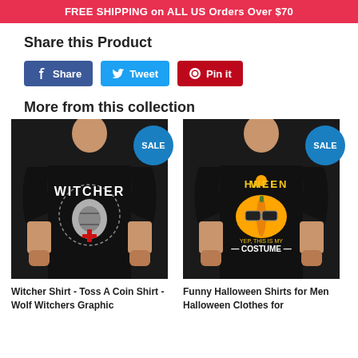FREE SHIPPING on ALL US Orders Over $70
Share this Product
Share  Tweet  Pin it
More from this collection
[Figure (photo): Man wearing black Witcher graphic t-shirt with SALE badge]
Witcher Shirt - Toss A Coin Shirt - Wolf Witchers Graphic
[Figure (photo): Man wearing black Halloween funny t-shirt with SALE badge]
Funny Halloween Shirts for Men Halloween Clothes for